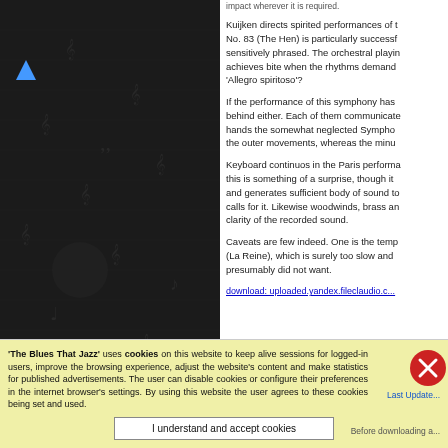[Figure (illustration): Dark background panel with repeated small musical note and clef symbols in a grid-like watermark pattern, with two blue arrow/chevron icons on the left side.]
Kuijken directs spirited performances of t... No. 83 (The Hen) is particularly success... sensitively phrased. The orchestral playin... achieves bite when the rhythms demand... 'Allegro spiritoso'?

If the performance of this symphony has... behind either. Each of them communicat... hands the somewhat neglected Sympho... the outer movements, whereas the minu...

Keyboard continuos in the Paris performa... this is something of a surprise, though it... and generates sufficient body of sound to... calls for it. Likewise woodwinds, brass a... clarity of the recorded sound.

Caveats are few indeed. One is the tem... (La Reine), which is surely too slow and... presumably did not want.

download: uploaded.yandex.fileclaudio.c...
'The Blues That Jazz' uses cookies on this website to keep alive sessions for logged-in users, improve the browsing experience, adjust the website's content and make statistics for published advertisements. The user can disable cookies or configure their preferences in the internet browser's settings. By using this website the user agrees to these cookies being set and used.
I understand and accept cookies